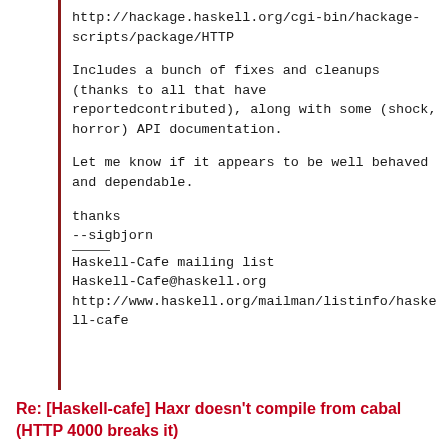http://hackage.haskell.org/cgi-bin/hackage-scripts/package/HTTP
Includes a bunch of fixes and cleanups (thanks to all that have reportedcontributed), along with some (shock, horror) API documentation.
Let me know if it appears to be well behaved and dependable.
thanks
--sigbjorn
___
Haskell-Cafe mailing list
Haskell-Cafe@haskell.org
http://www.haskell.org/mailman/listinfo/haskell-cafe
Re: [Haskell-cafe] Haxr doesn't compile from cabal (HTTP 4000 breaks it)